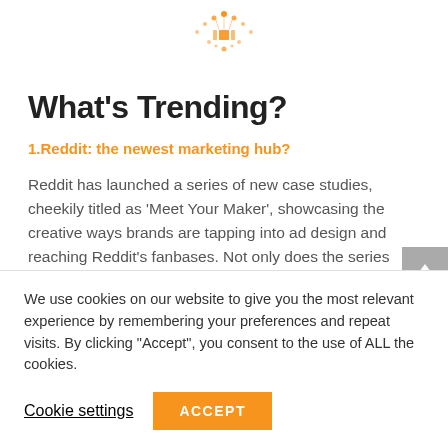[Figure (logo): Orange dotted decorative logo/pattern at top center]
What's Trending?
1. Reddit: the newest marketing hub?
Reddit has launched a series of new case studies, cheekily titled as ‘Meet Your Maker’, showcasing the creative ways brands are tapping into ad design and reaching Reddit’s fanbases. Not only does the series
We use cookies on our website to give you the most relevant experience by remembering your preferences and repeat visits. By clicking “Accept”, you consent to the use of ALL the cookies.
Cookie settings   ACCEPT